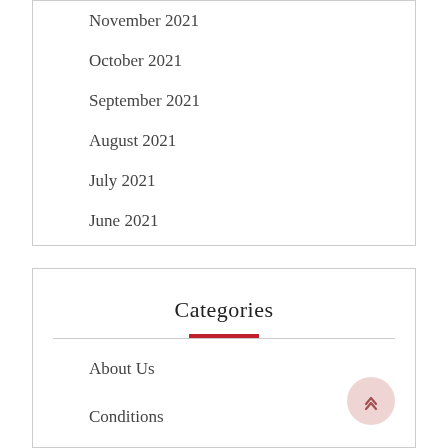November 2021
October 2021
September 2021
August 2021
July 2021
June 2021
Categories
About Us
Conditions
Contact Us